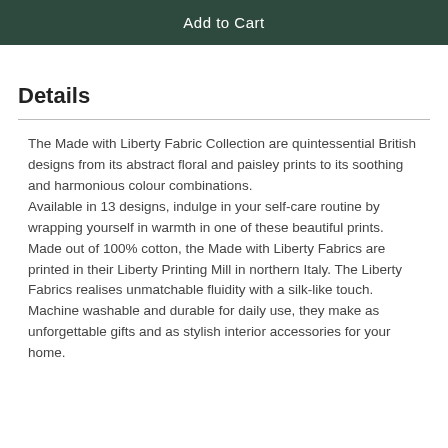[Figure (other): Add to Cart button with dark green background and white text]
Details
The Made with Liberty Fabric Collection are quintessential British designs from its abstract floral and paisley prints to its soothing and harmonious colour combinations.
Available in 13 designs, indulge in your self-care routine by wrapping yourself in warmth in one of these beautiful prints.
Made out of 100% cotton, the Made with Liberty Fabrics are printed in their Liberty Printing Mill in northern Italy. The Liberty Fabrics realises unmatchable fluidity with a silk-like touch. Machine washable and durable for daily use, they make as unforgettable gifts and as stylish interior accessories for your home.